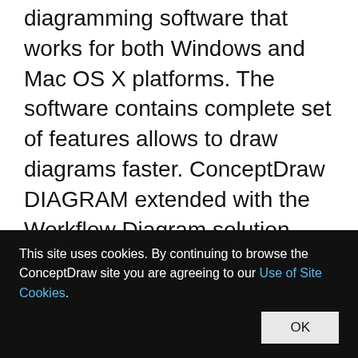ConceptDraw DIAGRAM is world-known diagramming software that works for both Windows and Mac OS X platforms. The software contains complete set of features allows to draw diagrams faster. ConceptDraw DIAGRAM extended with the Workflow Diagram solution provides additional libraries, templates and samples for drawing professional workflow diagrams.
PERT Chart Software
This site uses cookies. By continuing to browse the ConceptDraw site you are agreeing to our Use of Site Cookies.